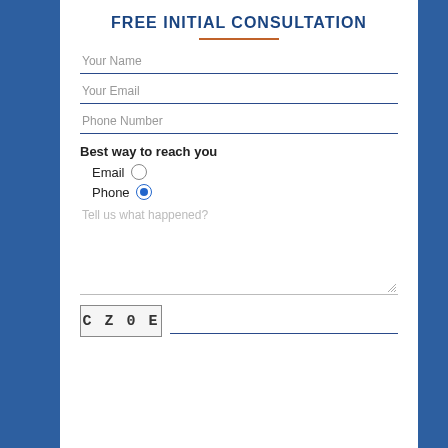FREE INITIAL CONSULTATION
Your Name
Your Email
Phone Number
Best way to reach you
Email (radio, unselected)
Phone (radio, selected)
Tell us what happened?
[Figure (other): CAPTCHA image showing characters C Z 0 E]